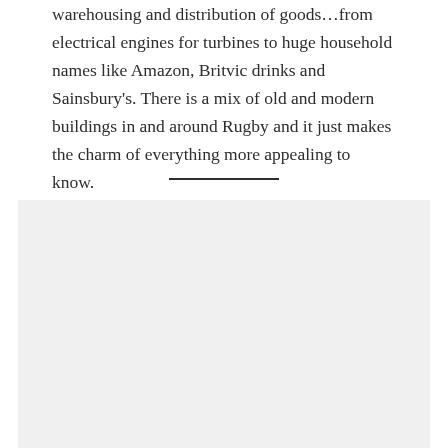warehousing and distribution of goods…from electrical engines for turbines to huge household names like Amazon, Britvic drinks and Sainsbury's. There is a mix of old and modern buildings in and around Rugby and it just makes the charm of everything more appealing to know.
[Figure (photo): A light grey placeholder image block occupying the lower portion of the page.]